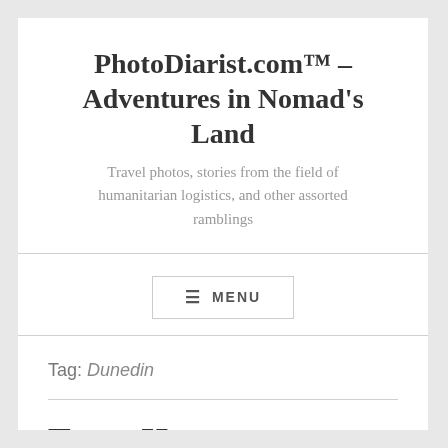PhotoDiarist.com™ – Adventures in Nomad's Land
Travel photos, stories from the field of humanitarian logistics, and other assorted ramblings
☰ MENU
Tag: Dunedin
Toroa House